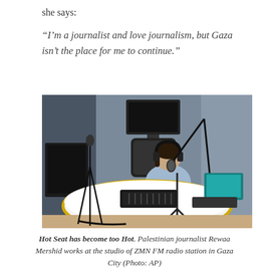she says:
“I’m a journalist and love journalism, but Gaza isn’t the place for me to continue.”
[Figure (photo): Palestinian journalist Rewaa Mershid working at the studio of ZMN FM radio station in Gaza City, seated at a curved white-and-yellow broadcast desk with microphone, mixing board, and headphones.]
Hot Seat has become too Hot. Palestinian journalist Rewaa Mershid works at the studio of ZMN FM radio station in Gaza City (Photo: AP)